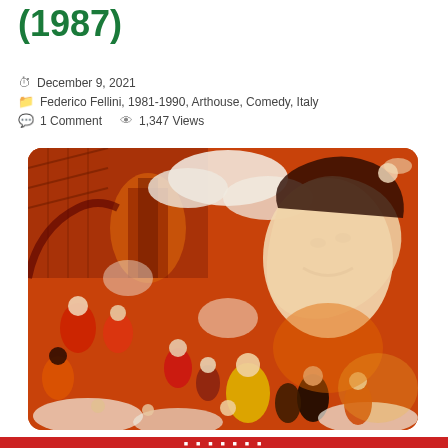(1987)
December 9, 2021
Federico Fellini, 1981-1990, Arthouse, Comedy, Italy
1 Comment   1,347 Views
[Figure (illustration): Colorful illustrated movie poster in red, orange, and white tones showing a large reclining woman's face and many carnival/circus figures, buildings, and crowd scenes in a chaotic festive composition.]
[Figure (other): Red banner strip at the bottom of the page with text/logo partially visible]